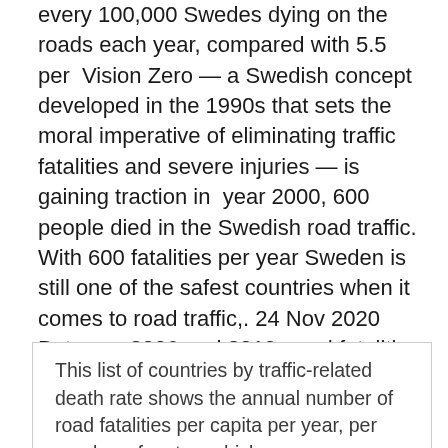every 100,000 Swedes dying on the roads each year, compared with 5.5 per Vision Zero — a Swedish concept developed in the 1990s that sets the moral imperative of eliminating traffic fatalities and severe injuries — is gaining traction in year 2000, 600 people died in the Swedish road traffic. With 600 fatalities per year Sweden is still one of the safest countries when it comes to road traffic,. 24 Nov 2020 Between 2006 and 2019, road fatalities in Sweden had more than halved. The lowest figure of such fatalities was recorded in 2019 at 221.
This list of countries by traffic-related death rate shows the annual number of road fatalities per capita per year, per number of motor vehicles,